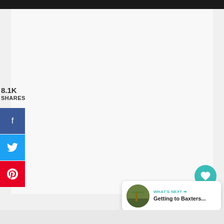[Figure (screenshot): Top navigation bar - dark/black strip at the top of the page]
8.1K
SHARES
[Figure (infographic): Social share buttons: Facebook (blue), Twitter (light blue), Pinterest (red), each with icon]
[Figure (infographic): Floating action buttons on right: teal heart/like button, share count showing 8.2K, white share button]
[Figure (infographic): What's Next card: thumbnail image, label 'WHAT'S NEXT ->', title 'Getting to Baxters...']